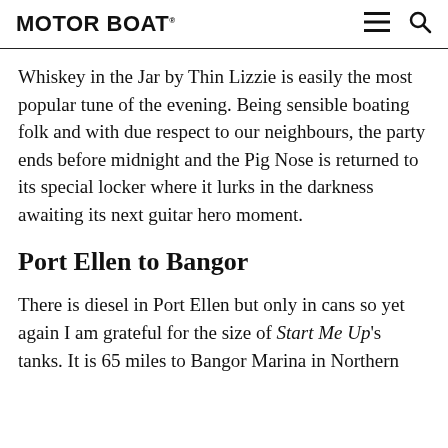MOTOR BOAT
Whiskey in the Jar by Thin Lizzie is easily the most popular tune of the evening. Being sensible boating folk and with due respect to our neighbours, the party ends before midnight and the Pig Nose is returned to its special locker where it lurks in the darkness awaiting its next guitar hero moment.
Port Ellen to Bangor
There is diesel in Port Ellen but only in cans so yet again I am grateful for the size of Start Me Up's tanks. It is 65 miles to Bangor Marina in Northern I...